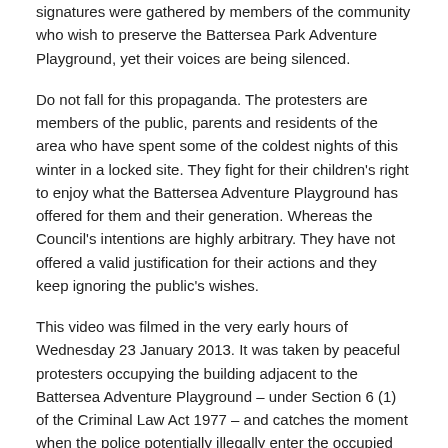signatures were gathered by members of the community who wish to preserve the Battersea Park Adventure Playground, yet their voices are being silenced.
Do not fall for this propaganda. The protesters are members of the public, parents and residents of the area who have spent some of the coldest nights of this winter in a locked site. They fight for their children's right to enjoy what the Battersea Adventure Playground has offered for them and their generation. Whereas the Council's intentions are highly arbitrary. They have not offered a valid justification for their actions and they keep ignoring the public's wishes.
This video was filmed in the very early hours of Wednesday 23 January 2013. It was taken by peaceful protesters occupying the building adjacent to the Battersea Adventure Playground – under Section 6 (1) of the Criminal Law Act 1977 – and catches the moment when the police potentially illegally enter the occupied building. You can hear a crow bar being used and the smashing up of the window/building.